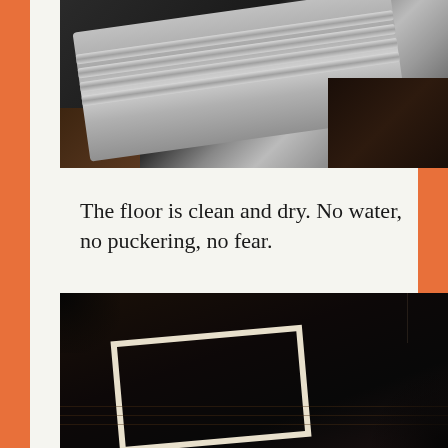[Figure (photo): Close-up photo of a metallic/aluminum case or equipment on a dark wood floor, shot at an angle. The case has ridged panels and latches visible.]
The floor is clean and dry. No water, no puckering, no fear.
[Figure (photo): Dark photo of a hardwood floor with a white tape square/rectangle outlined on it, viewed from above at an angle.]